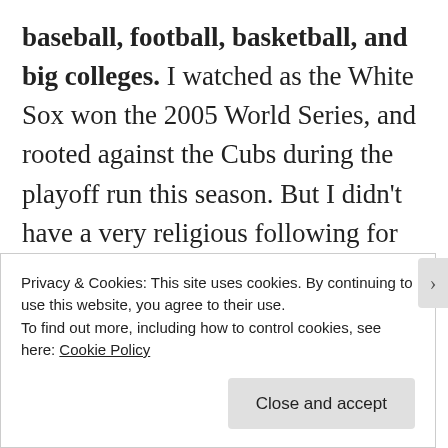baseball, football, basketball, and big colleges. I watched as the White Sox won the 2005 World Series, and rooted against the Cubs during the playoff run this season. But I didn't have a very religious following for anyone, in baseball, basketball or football. Perhaps the one big team that I tend to follow more than anyone else is the Chicago Blackhawks, despite knowing very little about the game of hockey.
Privacy & Cookies: This site uses cookies. By continuing to use this website, you agree to their use. To find out more, including how to control cookies, see here: Cookie Policy